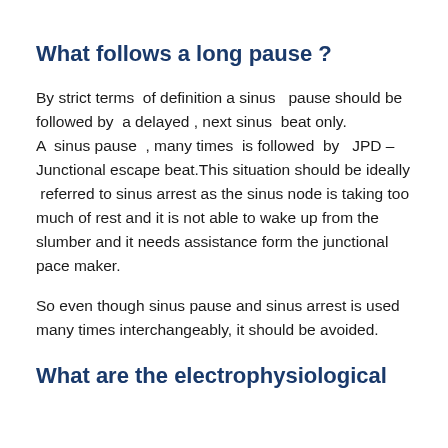What follows a long pause ?
By strict terms  of definition a sinus   pause should be followed by  a delayed , next sinus  beat only.
A  sinus pause  , many times  is followed  by   JPD – Junctional escape beat.This situation should be ideally  referred to sinus arrest as the sinus node is taking too much of rest and it is not able to wake up from the slumber and it needs assistance form the junctional pace maker.
So even though sinus pause and sinus arrest is used many times interchangeably, it should be avoided.
What are the electrophysiological